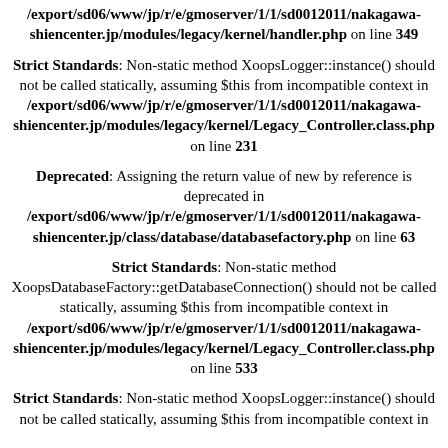/export/sd06/www/jp/r/e/gmoserver/1/1/sd0012011/nakagawa-shiencenter.jp/modules/legacy/kernel/handler.php on line 349
Strict Standards: Non-static method XoopsLogger::instance() should not be called statically, assuming $this from incompatible context in /export/sd06/www/jp/r/e/gmoserver/1/1/sd0012011/nakagawa-shiencenter.jp/modules/legacy/kernel/Legacy_Controller.class.php on line 231
Deprecated: Assigning the return value of new by reference is deprecated in /export/sd06/www/jp/r/e/gmoserver/1/1/sd0012011/nakagawa-shiencenter.jp/class/database/databasefactory.php on line 63
Strict Standards: Non-static method XoopsDatabaseFactory::getDatabaseConnection() should not be called statically, assuming $this from incompatible context in /export/sd06/www/jp/r/e/gmoserver/1/1/sd0012011/nakagawa-shiencenter.jp/modules/legacy/kernel/Legacy_Controller.class.php on line 533
Strict Standards: Non-static method XoopsLogger::instance() should not be called statically, assuming $this from incompatible context in /export/sd06/www/jp/r/e/gmoserver/1/1/sd0012011/nakagawa-